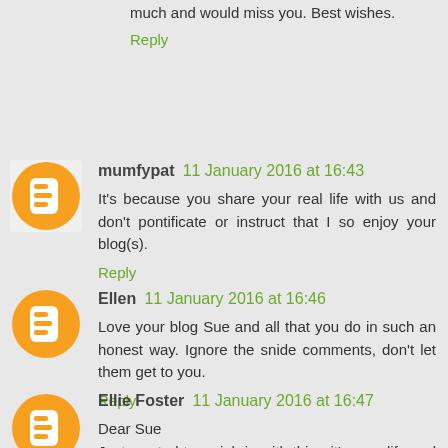much and would miss you. Best wishes.
Reply
mumfypat 11 January 2016 at 16:43
It's because you share your real life with us and don't pontificate or instruct that I so enjoy your blog(s).
Reply
Ellen 11 January 2016 at 16:46
Love your blog Sue and all that you do in such an honest way. Ignore the snide comments, don't let them get to you.
Reply
Ellie Foster 11 January 2016 at 16:47
Dear Sue
Just wanted to weigh in with this - it's your life and your blog, so you live it and write about it as you want to. I really